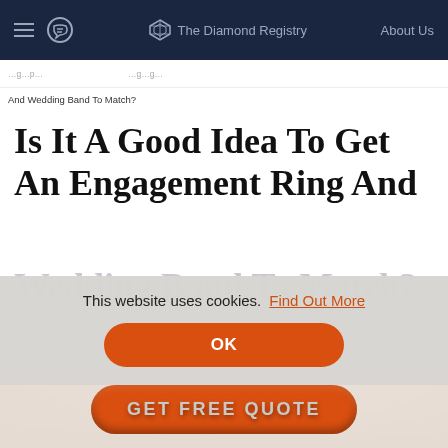The Diamond Registry | About Us
And Wedding Band To Match?
Is It A Good Idea To Get An Engagement Ring And Wedding Band To Match?
This website uses cookies. Find Out More
OK
[Figure (photo): Close-up blurred photo of a diamond engagement ring on a finger]
GET FREE QUOTE